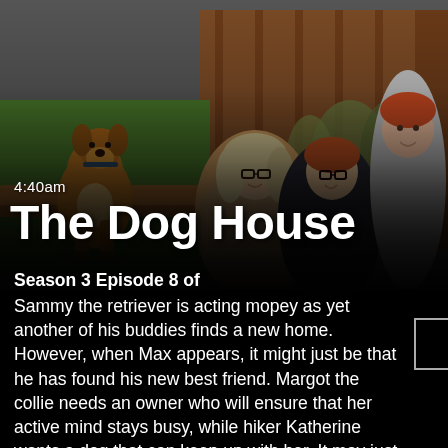[Figure (photo): A boxer dog sits on green grass on the left. A woman with blonde hair and glasses, a teenage boy with glasses and a dark hoodie, and a tall man with red hair stand smiling in front of a wooden backdrop with plants. The image serves as a promotional photo for 'The Dog House'.]
4:40am
The Dog House
Season 3 Episode 8 of
Sammy the retriever is acting mopey as yet another of his buddies finds a new home. However, when Max appears, it might just be that he has found his new best friend. Margot the collie needs an owner who will ensure that her active mind stays busy, while hiker Katherine wants a dog that can keep up with her. It may just be that they are the perfect match - so long as Margot's nerves don't get the better of her. After